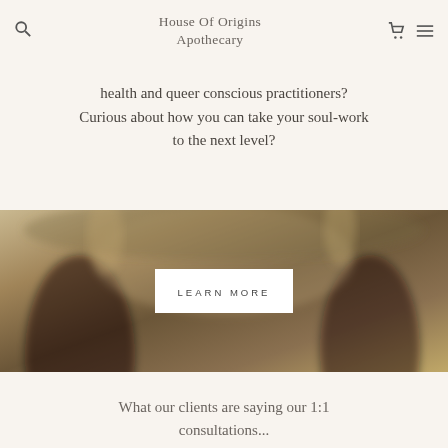House Of Origins Apothecary
health and queer conscious practitioners? Curious about how you can take your soul-work to the next level?
[Figure (photo): Two women with arms raised outdoors, motion-blurred photo with a centered white button reading LEARN MORE]
What our clients are saying our 1:1 consultations...